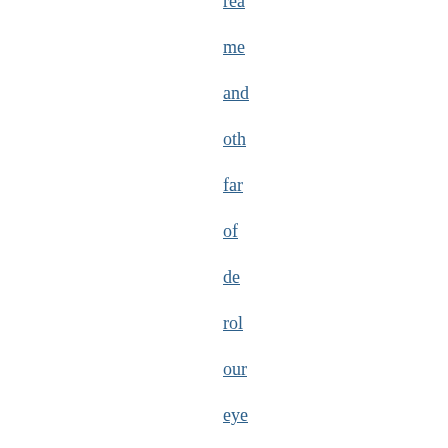rea me and oth far of de rol our eye Bu for tho fol wh des to pro tha